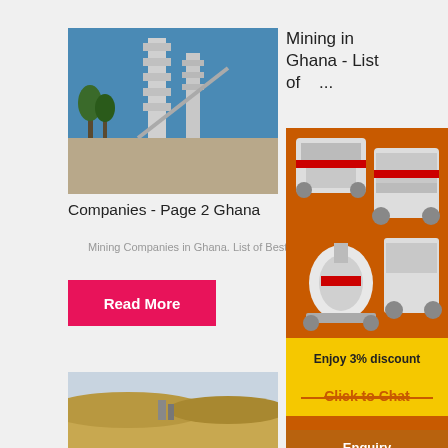[Figure (photo): Industrial mining or cement plant facility with tall tower structures against blue sky]
Mining in Ghana - List of Mining Companies - Page 2 Ghana
Mining Companies in Ghana. List of Best
Read More
[Figure (photo): Open pit mine or quarry site with sandy terrain]
[Figure (photo): Orange advertisement banner showing mining machinery equipment with Enjoy 3% discount and Click to Chat buttons]
Mining in Ghana - List of Mining Companies - Page 2 Ghana
Enquiry
limingjlmofen@sina.com
Mining Limited